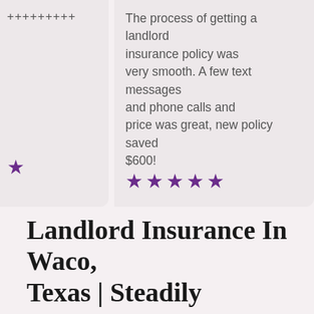+++++++++
The process of getting a landlord insurance policy was very smooth. A few text messages and phone calls and price was great, new policy saved $600!
★
★★★★★
Landlord Insurance In Waco, Texas | Steadily